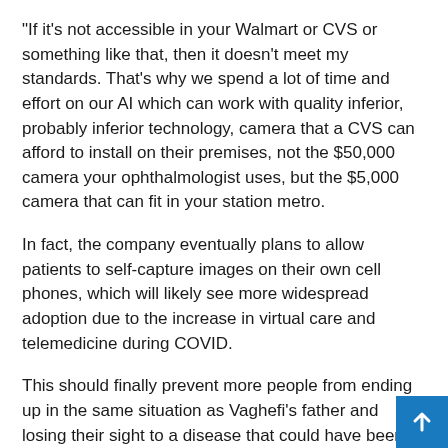“If it’s not accessible in your Walmart or CVS or something like that, then it doesn’t meet my standards. That’s why we spend a lot of time and effort on our AI which can work with quality inferior, probably inferior technology, camera that a CVS can afford to install on their premises, not the $50,000 camera your ophthalmologist uses, but the $5,000 camera that can fit in your station metro.
In fact, the company eventually plans to allow patients to self-capture images on their own cell phones, which will likely see more widespread adoption due to the increase in virtual care and telemedicine during COVID.
This should finally prevent more people from ending up in the same situation as Vaghefi’s father and losing their sight to a disease that could have been prevented if caught early.
“What bothers me and keeps me going is that my father lost his sight 60 years ago and today the same thing can happen to another person, another child who just doesn’t seem not have